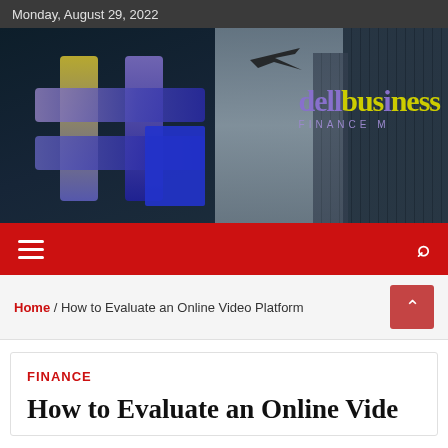Monday, August 29, 2022
[Figure (photo): Website banner showing a cryptocurrency/finance hashtag symbol in blue/yellow/purple gradients on the left, and tall glass skyscraper buildings viewed from below on the right, with a cloudy sky and an airplane silhouette, overlaid with the 'dellbusiness FINANCE M' logo in purple and yellow text]
[Figure (screenshot): Red navigation bar with hamburger menu icon on the left and search icon on the right]
Home / How to Evaluate an Online Video Platform
FINANCE
How to Evaluate an Online Vide...